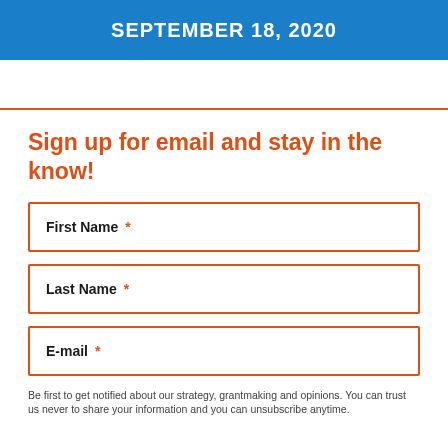SEPTEMBER 18, 2020
Sign up for email and stay in the know!
First Name *
Last Name *
E-mail *
Be first to get notified about our strategy, grantmaking and opinions. You can trust us never to share your information and you can unsubscribe anytime.